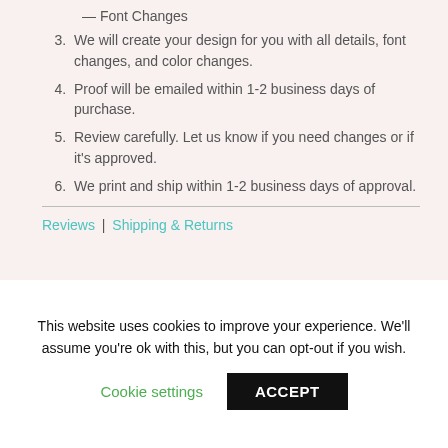— Font Changes
3. We will create your design for you with all details, font changes, and color changes.
4. Proof will be emailed within 1-2 business days of purchase.
5. Review carefully. Let us know if you need changes or if it's approved.
6. We print and ship within 1-2 business days of approval.
Reviews | Shipping & Returns
This website uses cookies to improve your experience. We'll assume you're ok with this, but you can opt-out if you wish.